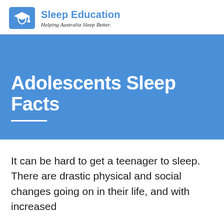[Figure (logo): Sleep Education logo with graduation cap icon in blue square, title 'Sleep Education' in blue, subtitle 'Helping Australia Sleep Better.' in italic]
Adolescents Sleep Facts
It can be hard to get a teenager to sleep. There are drastic physical and social changes going on in their life, and with increased